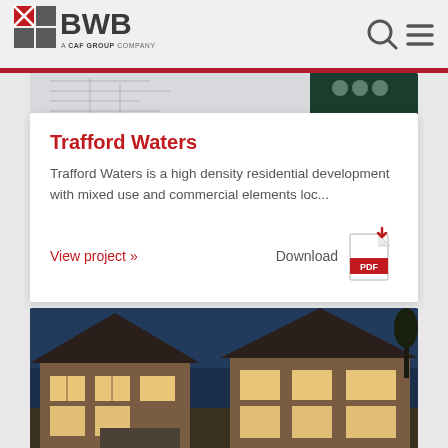[Figure (logo): BWB logo with red grid and text 'A CAF GROUP COMPANY']
[Figure (photo): Partial top strip image showing architectural drawings and a dark green element]
Trafford Waters
Trafford Waters is a high density residential development with mixed use and commercial elements loc...
View project »
Download
[Figure (photo): Evening/dusk photograph of residential houses with brick exterior, illuminated windows, and dark sky background]